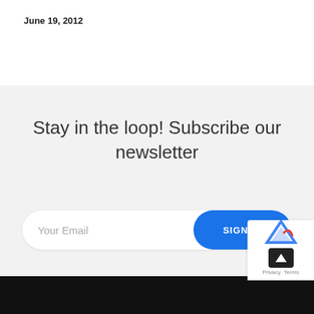June 19, 2012
Stay in the loop! Subscribe our newsletter
Your Email
SIGN IN
Privacy  Terms